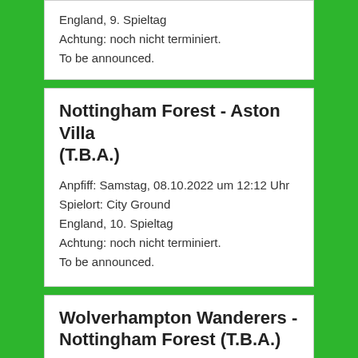England, 9. Spieltag
Achtung: noch nicht terminiert.
To be announced.
Nottingham Forest - Aston Villa (T.B.A.)
Anpfiff: Samstag, 08.10.2022 um 12:12 Uhr
Spielort: City Ground
England, 10. Spieltag
Achtung: noch nicht terminiert.
To be announced.
Wolverhampton Wanderers - Nottingham Forest (T.B.A.)
Anpfiff: Samstag, 15.10.2022 um 12:12 Uhr
Spielort: Molineux Stadium
England, 11. Spieltag
Achtung: noch nicht terminiert.